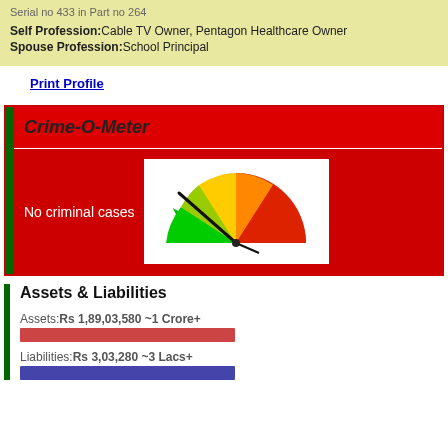Serial no 433 in Part no 264
Self Profession: Cable TV Owner, Pentagon Healthcare Owner
Spouse Profession: School Principal
Print Profile
Crime-O-Meter
No criminal cases
[Figure (other): Crime-O-Meter gauge showing needle pointing to green/low end of a semicircular meter ranging from green to red]
Assets & Liabilities
Assets: Rs 1,89,03,580 ~1 Crore+
[Figure (bar-chart): Assets]
Liabilities: Rs 3,03,280 ~3 Lacs+
[Figure (bar-chart): Liabilities]